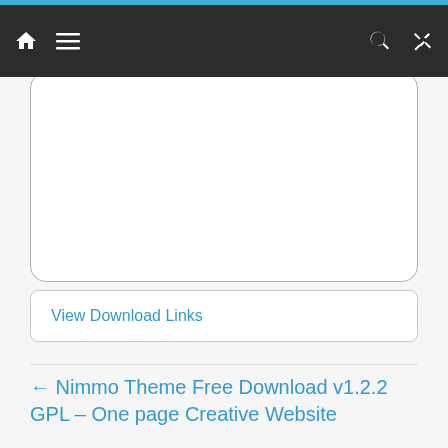Navigation bar with home, menu, search, and shuffle icons
[Figure (screenshot): White rounded rectangle card box (empty content area)]
View Download Links
← Nimmo Theme Free Download v1.2.2 GPL – One page Creative Website
TheFox Theme Free Download v3.9.9.9.38 GPL – Multi-Purpose Websites →